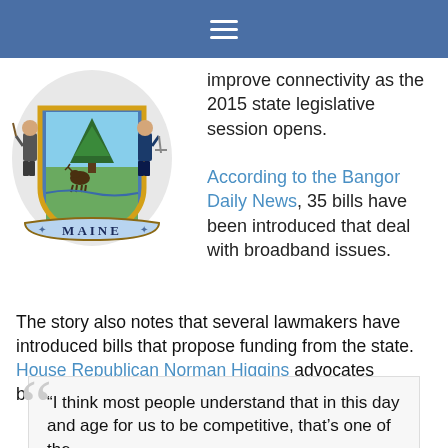≡
[Figure (illustration): Maine state seal showing two figures flanking a pine tree shield with a moose, above a banner reading MAINE]
improve connectivity as the 2015 state legislative session opens. According to the Bangor Daily News, 35 bills have been introduced that deal with broadband issues.
The story also notes that several lawmakers have introduced bills that propose funding from the state. House Republican Norman Higgins advocates broadband infrastructure in rural areas of the state:
“I think most people understand that in this day and age for us to be competitive, that’s one of the